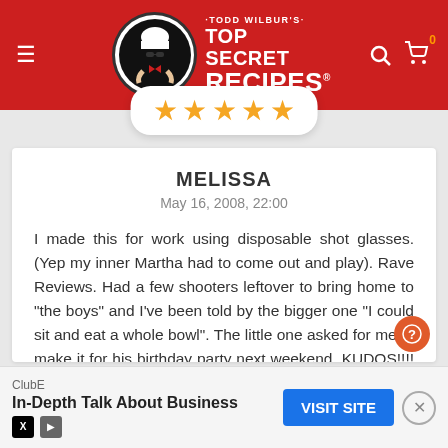[Figure (logo): Todd Wilbur's Top Secret Recipes website header with red background, logo with chef in circle, hamburger menu, search icon, and cart icon]
[Figure (other): Five gold star rating displayed in a white rounded pill container]
MELISSA
May 16, 2008, 22:00
I made this for work using disposable shot glasses. (Yep my inner Martha had to come out and play). Rave Reviews. Had a few shooters leftover to bring home to "the boys" and I've been told by the bigger one "I could sit and eat a whole bowl". The little one asked for me to make it for his birthday party next weekend. KUDOS!!!! Oh yeah the resident chocoholic (me) loved it too. This was really easy for me to make in one night. (Tip to fill the shot glasses use a disposable decorating bag or heavy duty zipper type bag and cut off the corner to squeeze the filling into the cookie crumb lined shot glasses).
[Figure (screenshot): Advertisement for Clube E - In-Depth Talk About Business with Visit Site button]